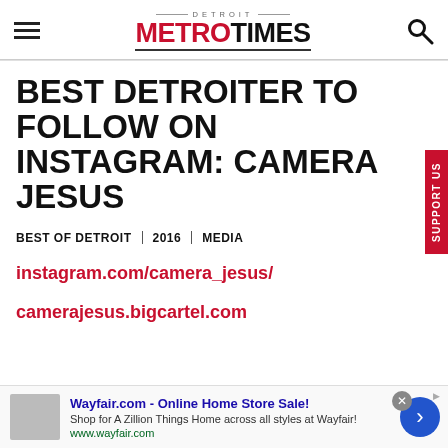Detroit Metro Times
BEST DETROITER TO FOLLOW ON INSTAGRAM: CAMERA JESUS
BEST OF DETROIT | 2016 | MEDIA
instagram.com/camera_jesus/
camerajesus.bigcartel.com
[Figure (screenshot): Advertisement banner: Wayfair.com - Online Home Store Sale! Shop for A Zillion Things Home across all styles at Wayfair! www.wayfair.com]